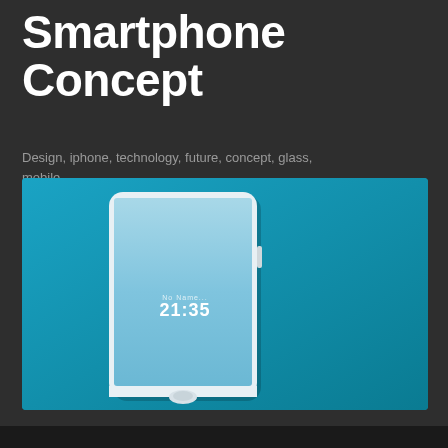Smartphone Concept
Design, iphone, technology, future, concept, glass, mobile
[Figure (illustration): Concept smartphone mockup on a teal/blue background. The phone has a nearly bezel-less design with a white frame, showing a lock screen displaying time 21:35, and a home button at the bottom.]